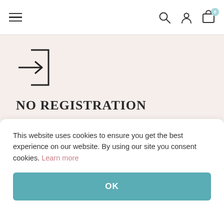Navigation header with hamburger menu, search, user account, and shopping cart icons
[Figure (illustration): Login/sign-in icon: a right-pointing arrow entering a bracket (door with arrow)]
NO REGISTRATION
We have teamed up with the best print shops and wax seal boutiques for your high quality final result!
This website uses cookies to ensure you get the best experience on our website. By using our site you consent cookies. Learn more
OK